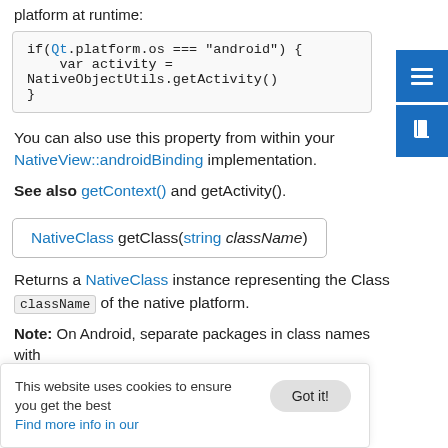platform at runtime:
if(Qt.platform.os === "android") {
    var activity = NativeObjectUtils.getActivity()
}
You can also use this property from within your NativeView::androidBinding implementation.
See also getContext() and getActivity().
NativeClass getClass(string className)
Returns a NativeClass instance representing the Class className of the native platform.
Note: On Android, separate packages in class names with
This website uses cookies to ensure you get the best experience on our website. Find more info in our